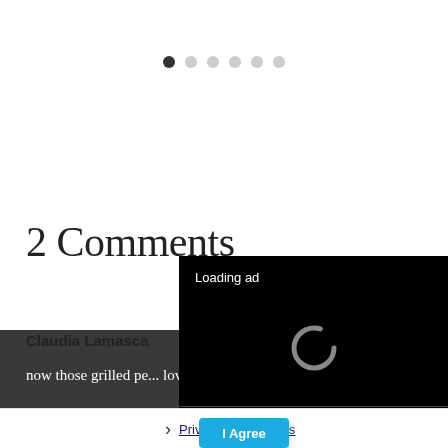[Figure (other): Carousel dot navigation: 6 dots, first one dark/active, rest light grey]
2 Comments
Claudia Lamasco...
now those grilled pe... love a great fruit and peaches are
[Figure (screenshot): Video ad overlay showing 'Loading ad' text with a spinner (C) and video controls (pause, fullscreen, mute) on a black background]
Privacy Preferences
I Agree